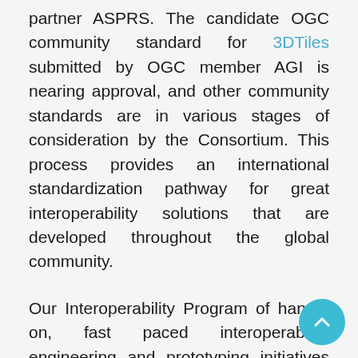partner ASPRS. The candidate OGC community standard for 3DTiles submitted by OGC member AGI is nearing approval, and other community standards are in various stages of consideration by the Consortium. This process provides an international standardization pathway for great interoperability solutions that are developed throughout the global community.
Our Interoperability Program of hands-on, fast paced interoperability engineering and prototyping initiatives achieved a major milestone – exceeding 100 successful initiatives completed since the program's founding in 1999. On this occasion, and because of its emphasis on tapping the creative capabilities of our members, the program was officially renamed the Innovation Program. This proven program